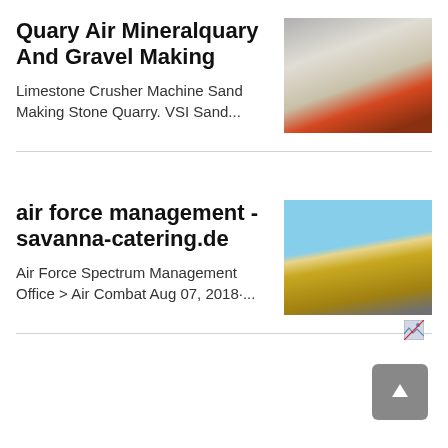Quary Air Mineralquary And Gravel Making
[Figure (photo): Mining conveyor belt with crushed stone and gravel, red machinery visible]
Limestone Crusher Machine Sand Making Stone Quarry. VSI Sand...
air force management - savanna-catering.de
[Figure (photo): Yellow industrial mining/crushing machinery on a sandy site under blue sky]
Air Force Spectrum Management Office > Air Combat Aug 07, 2018·...